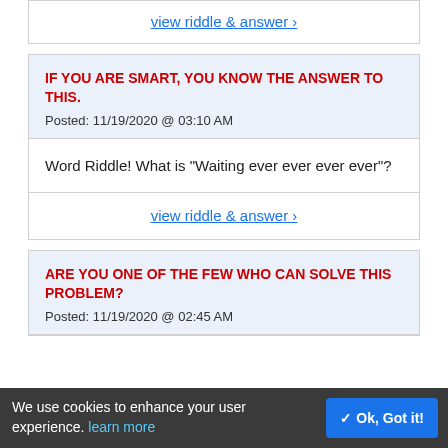view riddle & answer ›
IF YOU ARE SMART, YOU KNOW THE ANSWER TO THIS.
Posted: 11/19/2020 @ 03:10 AM
Word Riddle! What is "Waiting ever ever ever ever"?
view riddle & answer ›
ARE YOU ONE OF THE FEW WHO CAN SOLVE THIS PROBLEM?
Posted: 11/19/2020 @ 02:45 AM
We use cookies to enhance your user experience. learn more